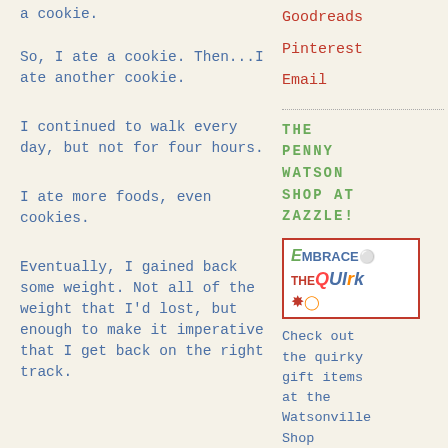a cookie.
Goodreads
Pinterest
Email
So, I ate a cookie. Then...I ate another cookie.
THE PENNY WATSON SHOP AT ZAZZLE!
I continued to walk every day, but not for four hours.
I ate more foods, even cookies.
[Figure (logo): Embrace the Quirk logo with colorful text in a red-bordered box]
Eventually, I gained back some weight. Not all of the weight that I'd lost, but enough to make it imperative that I get back on the right track.
Check out the quirky gift items at the Watsonville Shop